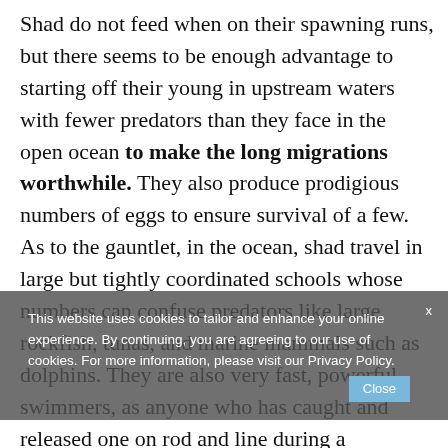Shad do not feed when on their spawning runs, but there seems to be enough advantage to starting off their young in upstream waters with fewer predators than they face in the open ocean to make the long migrations worthwhile. They also produce prodigious numbers of eggs to ensure survival of a few. As to the gauntlet, in the ocean, shad travel in large but tightly coordinated schools whose numbers can confuse predators like large rockfish, tunas, and marine mammals such as dolphins. They are also very fast, powerful swimmers, as anyone who has caught and released one on rod and line during a spawning run can attest (though they do not feed then, they will
This website uses cookies to tailor and enhance your online experience. By continuing, you are agreeing to our use of cookies. For more information, please visit our Privacy Policy.